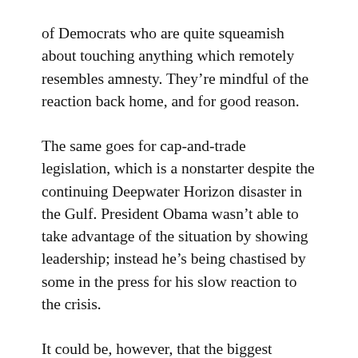of Democrats who are quite squeamish about touching anything which remotely resembles amnesty. They’re mindful of the reaction back home, and for good reason.
The same goes for cap-and-trade legislation, which is a nonstarter despite the continuing Deepwater Horizon disaster in the Gulf. President Obama wasn’t able to take advantage of the situation by showing leadership; instead he’s being chastised by some in the press for his slow reaction to the crisis.
It could be, however, that the biggest difference between the more popular Obama of late and the Obama trying to get health care